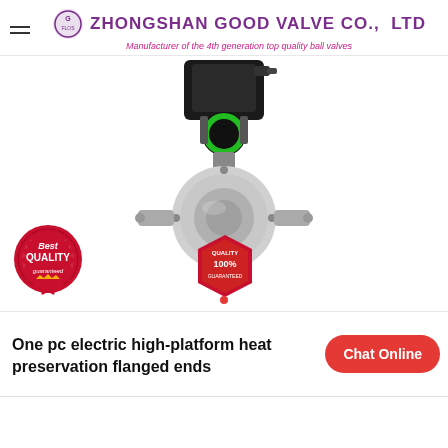ZHONGSHAN GOOD VALVE CO., LTD — Manufacturer of the 4th generation top quality ball valves
[Figure (photo): Electric high-platform heat preservation ball valve with flanged ends, stainless steel body with actuator on top, green indicator ring. Two quality badge overlays: 'Best QUALITY guaranteed' and 'QUALITY 100%'.]
One pc electric high-platform heat preservation flanged ends